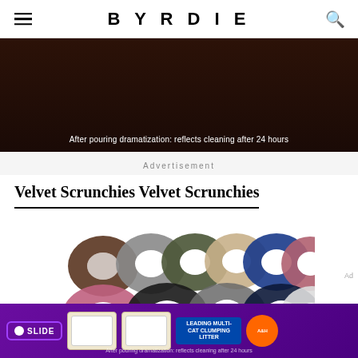BYRDIE
[Figure (photo): Advertisement banner with dark brown background showing product images and text: 'After pouring dramatization: reflects cleaning after 24 hours']
Advertisement
Velvet Scrunchies Velvet Scrunchies
[Figure (photo): Collection of velvet scrunchies in multiple colors including brown, gray, olive, beige, blue, pink, black, and white arranged in two rows]
[Figure (photo): Bottom advertisement banner with purple background showing Slide cat litter product with litter boxes and Arm & Hammer branding. Text: 'After pouring dramatization: reflects cleaning after 24 hours']